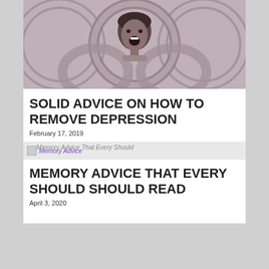[Figure (photo): Black and white stylized photo of a person with mouth open, surrounded by large chain links forming a circular pattern around the head]
SOLID ADVICE ON HOW TO REMOVE DEPRESSION
February 17, 2019
[Figure (other): Small icon image with overlapping link text: 'Memory Advice That Every Should' in purple italic over gray bar]
MEMORY ADVICE THAT EVERY SHOULD SHOULD READ
April 3, 2020